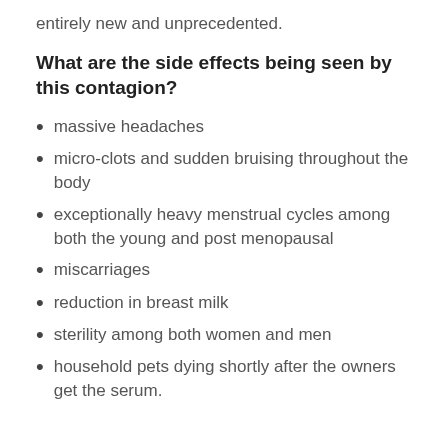entirely new and unprecedented.
What are the side effects being seen by this contagion?
massive headaches
micro-clots and sudden bruising throughout the body
exceptionally heavy menstrual cycles among both the young and post menopausal
miscarriages
reduction in breast milk
sterility among both women and men
household pets dying shortly after the owners get the serum.